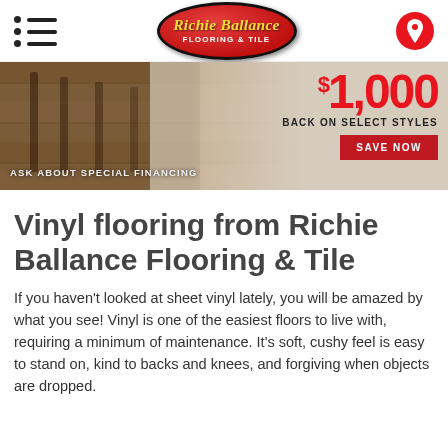Richie Ballance Flooring & Tile — navigation header with hamburger menu and location pin
[Figure (screenshot): Promotional banner showing a hardwood floor dining room scene. Text overlay reads '$1,000 BACK ON SELECT STYLES' with a red 'SAVE NOW' button and 'ASK ABOUT SPECIAL FINANCING' text.]
Vinyl flooring from Richie Ballance Flooring & Tile
If you haven't looked at sheet vinyl lately, you will be amazed by what you see! Vinyl is one of the easiest floors to live with, requiring a minimum of maintenance. It's soft, cushy feel is easy to stand on, kind to backs and knees, and forgiving when objects are dropped.